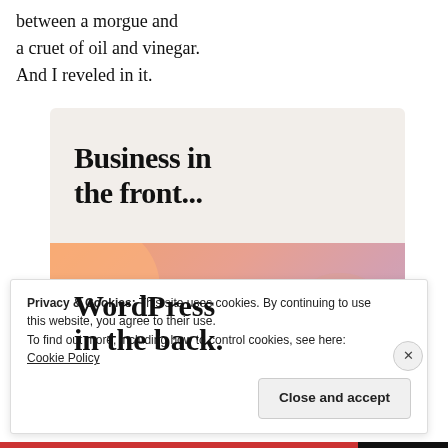between a morgue and a cruet of oil and vinegar. And I reveled in it.
[Figure (screenshot): Advertisement banner showing 'Business in the front...' on a light beige background, and 'WordPress in the back.' on a colorful gradient background with decorative bubbles]
Privacy & Cookies: This site uses cookies. By continuing to use this website, you agree to their use.
To find out more, including how to control cookies, see here: Cookie Policy
Close and accept